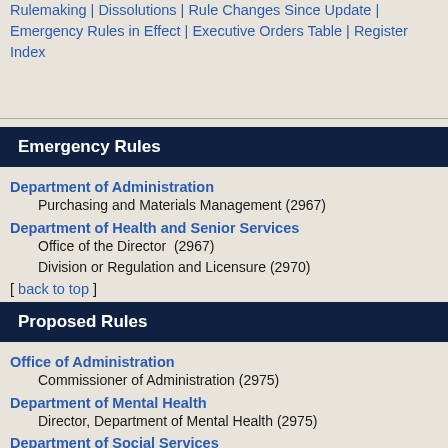Rulemaking | Dissolutions | Rule Changes Since Update | Emergency Rules in Effect | Executive Orders Table | Register Index
Emergency Rules
Department of Administration
    Purchasing and Materials Management (2967)
Department of Health and Senior Services
    Office of the Director  (2967)
    Division or Regulation and Licensure (2970)
[ back to top ]
Proposed Rules
Office of Administration
    Commissioner of Administration (2975)
Department of Mental Health
    Director, Department of Mental Health (2975)
Department of Social Services